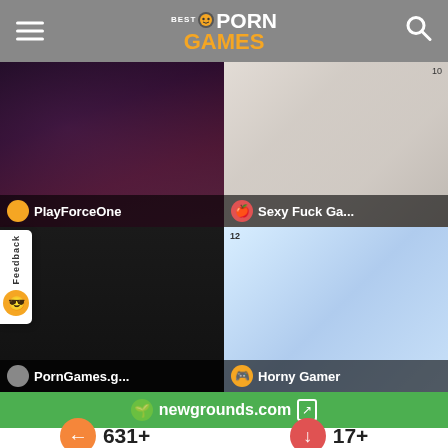Best Porn Games
[Figure (screenshot): Grid of 4 website screenshots: PlayForceOne (#9), Sexy Fuck Games (#10), PornGames.g (#11), Horny Gamer (#12)]
newgrounds.com
631+
Best Porn Games
17+
Free Online Sex Games